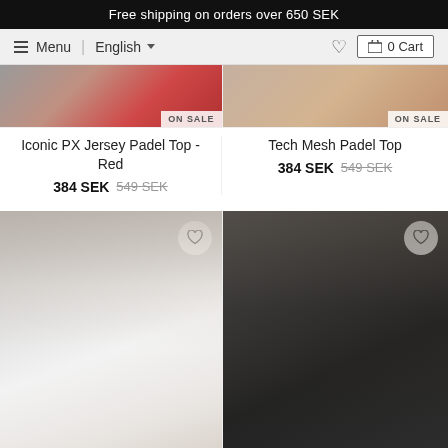Free shipping on orders over 650 SEK
Menu | English | 0 Cart
[Figure (photo): Product images of Iconic PX Jersey Padel Top - Red and Tech Mesh Padel Top, both with ON SALE badge]
Iconic PX Jersey Padel Top - Red
384 SEK 549 SEK
Tech Mesh Padel Top
384 SEK 549 SEK
[Figure (photo): Model wearing white sleeveless Canvis padel top outdoors]
[Figure (photo): Model wearing black sleeveless Canvis padel top outdoors]